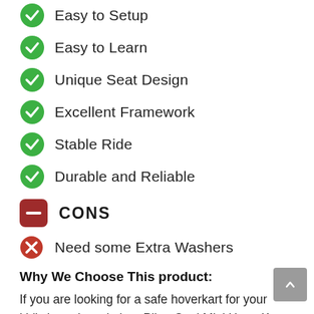Easy to Setup
Easy to Learn
Unique Seat Design
Excellent Framework
Stable Ride
Durable and Reliable
CONS
Need some Extra Washers
Why We Choose This product:
If you are looking for a safe hoverkart for your kid’s hoverboard, then Pilan Cool Mini HoverKart Seat Attachment for Hoverboard is